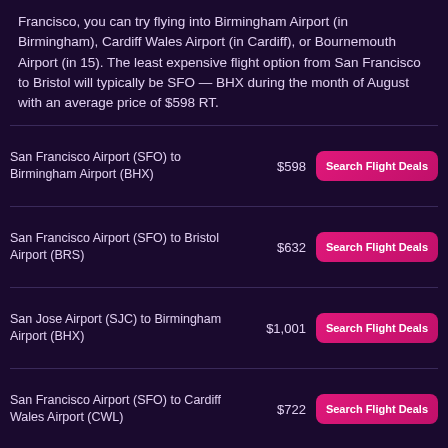Francisco, you can try flying into Birmingham Airport (in Birmingham), Cardiff Wales Airport (in Cardiff), or Bournemouth Airport (in 15). The least expensive flight option from San Francisco to Bristol will typically be SFO — BHX during the month of August with an average price of $598 RT.
| Route | Price | Action |
| --- | --- | --- |
| San Francisco Airport (SFO) to Birmingham Airport (BHX) | $598 | Search Flight Deals |
| San Francisco Airport (SFO) to Bristol Airport (BRS) | $632 | Search Flight Deals |
| San Jose Airport (SJC) to Birmingham Airport (BHX) | $1,001 | Search Flight Deals |
| San Francisco Airport (SFO) to Cardiff Wales Airport (CWL) | $722 | Search Flight Deals |
| Oakland Airport (OAK) to Birmingham Airport (BHX) | $627 | Search Flight Deals |